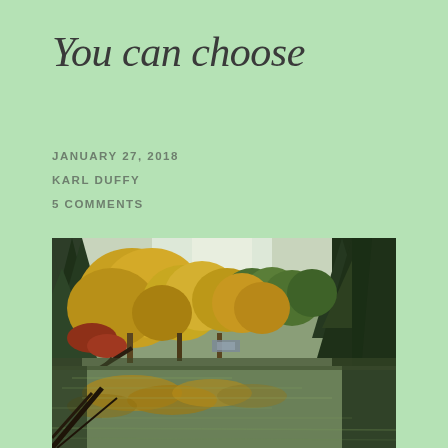You can choose
JANUARY 27, 2018
KARL DUFFY
5 COMMENTS
[Figure (photo): Autumn forest scene with yellow and green trees reflected in a calm river or pond. Dark evergreen trees contrast with golden deciduous foliage. A car is partially visible through the trees in the background.]